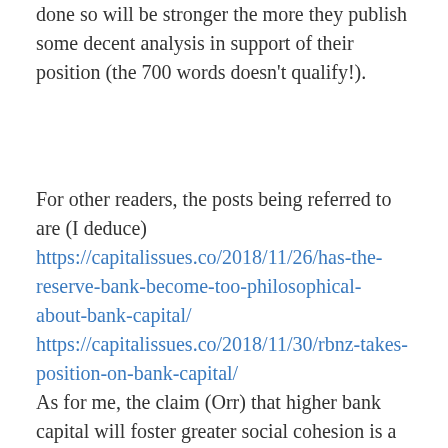done so will be stronger the more they publish some decent analysis in support of their position (the 700 words doesn't qualify!).
For other readers, the posts being referred to are (I deduce) https://capitalissues.co/2018/11/26/has-the-reserve-bank-become-too-philosophical-about-bank-capital/ https://capitalissues.co/2018/11/30/rbnz-takes-position-on-bank-capital/
As for me, the claim (Orr) that higher bank capital will foster greater social cohesion is a reach